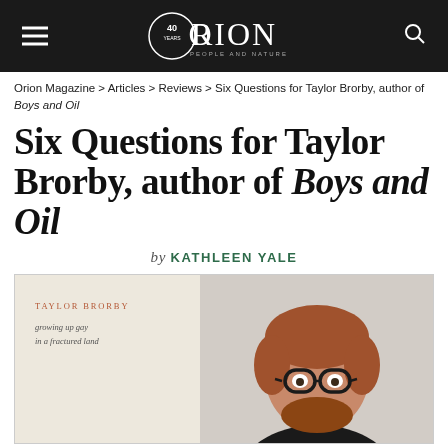ORION — People and Nature (40 years logo)
Orion Magazine > Articles > Reviews > Six Questions for Taylor Brorby, author of Boys and Oil
Six Questions for Taylor Brorby, author of Boys and Oil
by KATHLEEN YALE
[Figure (photo): Combined image of the book cover 'Boys and Oil' by Taylor Brorby (growing up gay in a fractured land) on the left and a photo of the author Taylor Brorby — a young man with reddish hair and beard wearing glasses and a dark shirt — on the right.]